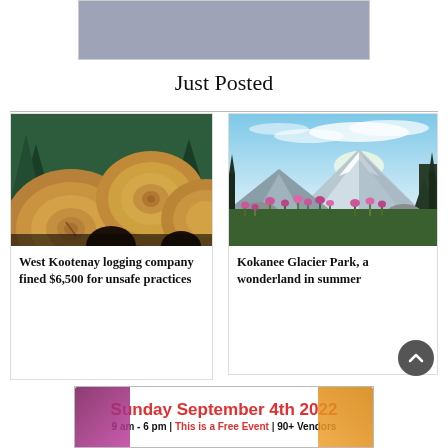[Figure (other): Gray rectangular banner/advertisement placeholder at top of page]
Just Posted
[Figure (photo): Cross-cut logs/timber stacked together, showing tree rings, with green pine trees in background]
West Kootenay logging company fined $6,500 for unsafe practices
[Figure (photo): Kokanee Glacier Provincial Park landscape with mountain, snow, pink wildflowers, and pine trees under bright sky]
Kokanee Glacier Park, a wonderland in summer
[Figure (infographic): Bottom advertisement banner: Sunday September 4th 2022, 9 am - 6 pm | This is a Free Event | 90+ Vendors, with decorative food images on sides]